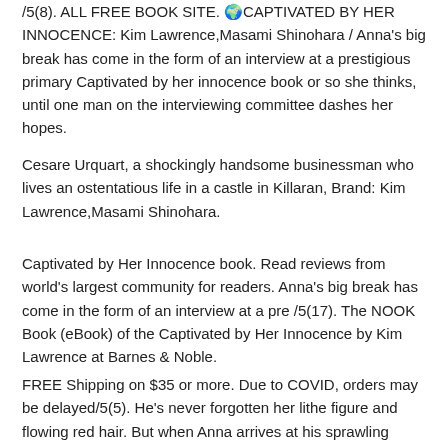/5(8). ALL FREE BOOK SITE. 🌍CAPTIVATED BY HER INNOCENCE: Kim Lawrence,Masami Shinohara / Anna's big break has come in the form of an interview at a prestigious primary Captivated by her innocence book or so she thinks, until one man on the interviewing committee dashes her hopes.
Cesare Urquart, a shockingly handsome businessman who lives an ostentatious life in a castle in Killaran, Brand: Kim Lawrence,Masami Shinohara.
Captivated by Her Innocence book. Read reviews from world's largest community for readers. Anna's big break has come in the form of an interview at a pre /5(17). The NOOK Book (eBook) of the Captivated by Her Innocence by Kim Lawrence at Barnes & Noble.
FREE Shipping on $35 or more. Due to COVID, orders may be delayed/5(5). He's never forgotten her lithe figure and flowing red hair. But when Anna arrives at his sprawling Scottish estate under his sister's employment, Cesare gets a rush of adrenaline he hasn't felt for years.